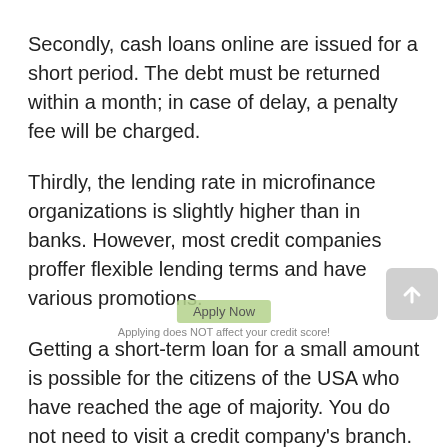Secondly, cash loans online are issued for a short period. The debt must be returned within a month; in case of delay, a penalty fee will be charged.
Thirdly, the lending rate in microfinance organizations is slightly higher than in banks. However, most credit companies proffer flexible lending terms and have various promotions.
Getting a short-term loan for a small amount is possible for the citizens of the USA who have reached the age of majority. You do not need to visit a credit company's branch. It's enough to have access to the Internet and correctly fill out a simple application form. Provide a minimal package of documents confirming your age and solvency to get a loan online. The amount can reach $500. But as a rule, a loan is issued for a smaller amount. Online payday loans Egg Harbor City in New Jersey NJ are issued immediately after verification of the entered data. The